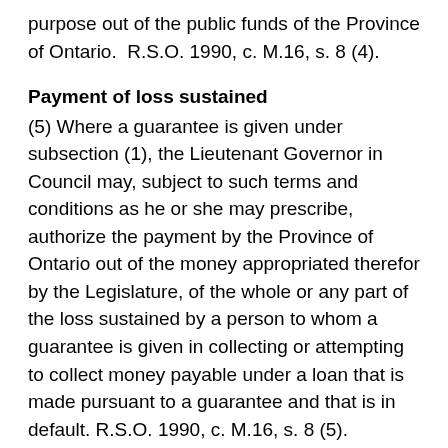purpose out of the public funds of the Province of Ontario.  R.S.O. 1990, c. M.16, s. 8 (4).
Payment of loss sustained
(5) Where a guarantee is given under subsection (1), the Lieutenant Governor in Council may, subject to such terms and conditions as he or she may prescribe, authorize the payment by the Province of Ontario out of the money appropriated therefor by the Legislature, of the whole or any part of the loss sustained by a person to whom a guarantee is given in collecting or attempting to collect money payable under a loan that is made pursuant to a guarantee and that is in default. R.S.O. 1990, c. M.16, s. 8 (5).
Payment of loss limited